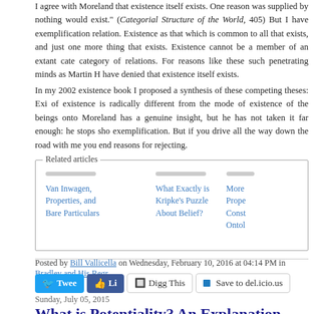I agree with Moreland that existence itself exists. One reason was supplied by nothing would exist." (Categorial Structure of the World, 405) But I have exemplification relation. Existence as that which is common to all that exists, and just one more thing that exists. Existence cannot be a member of an extant cate category of relations. For reasons like these such penetrating minds as Martin H have denied that existence itself exists.
In my 2002 existence book I proposed a synthesis of these competing theses: Exi of existence is radically different from the mode of existence of the beings onto Moreland has a genuine insight, but he has not taken it far enough: he stops sho exemplification. But if you drive all the way down the road with me you end reasons for rejecting.
[Figure (other): Related articles box with links: Van Inwagen, Properties, and Bare Particulars; What Exactly is Kripke's Puzzle About Belief?; More (truncated)]
Posted by Bill Vallicella on Wednesday, February 10, 2016 at 04:14 PM in Bradley and His Regr Comments (4)
[Figure (other): Social sharing buttons: Tweet, Like, Digg This, Save to del.icio.us]
Sunday, July 05, 2015
What is Potentiality? An Explanation